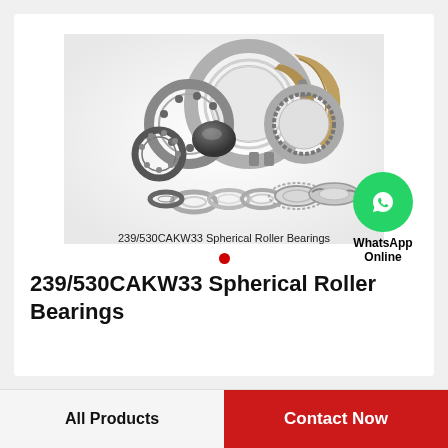[Figure (photo): Collection of various spherical roller bearings and bearing components including rings, balls, and seals arranged on a white background. Caption text: 239/530CAKW33 Spherical Roller Bearings. A WhatsApp Online icon is shown in the lower right.]
239/530CAKW33 Spherical Roller Bearings
All Products
Contact Now